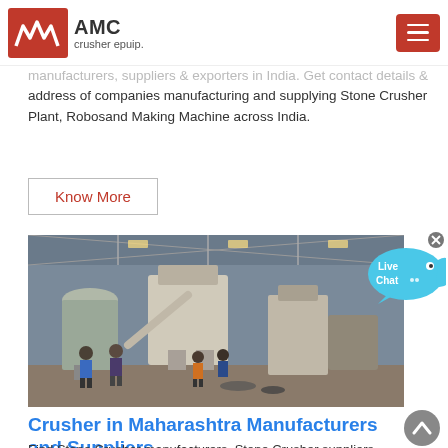AMC crusher epuip.
manufacturers, suppliers & exporters in India. Get contact details & address of companies manufacturing and supplying Stone Crusher Plant, Robosand Making Machine across India.
Know More
[Figure (photo): Industrial stone crusher plant machinery inside a warehouse with workers standing nearby]
Crusher in Maharashtra Manufacturers and Suppliers
Find Stone Crusher manufacturers, Stone Crusher suppliers,